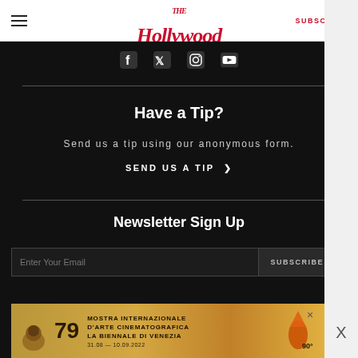The Hollywood Reporter — SUBSCRIBE
[Figure (infographic): Social media icons: Facebook, Twitter, Instagram, YouTube on black background]
Have a Tip?
Send us a tip using our anonymous form.
SEND US A TIP >
Newsletter Sign Up
Enter Your Email — SUBSCRIBE >
[Figure (photo): Advertisement: Mostra Internazionale D'Arte Cinematografica La Biennale Di Venezia 79, 31.08–10.09.2022]